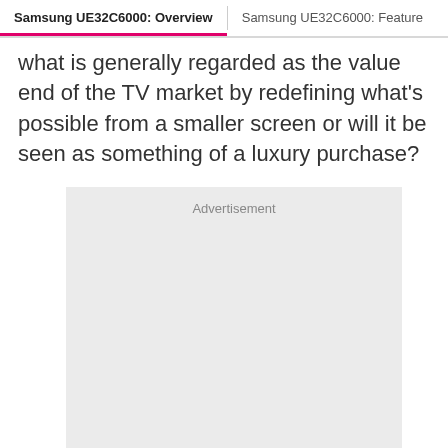Samsung UE32C6000: Overview | Samsung UE32C6000: Feature
what is generally regarded as the value end of the TV market by redefining what's possible from a smaller screen or will it be seen as something of a luxury purchase?
[Figure (other): Advertisement placeholder box with light grey background and the label 'Advertisement' at the top center.]